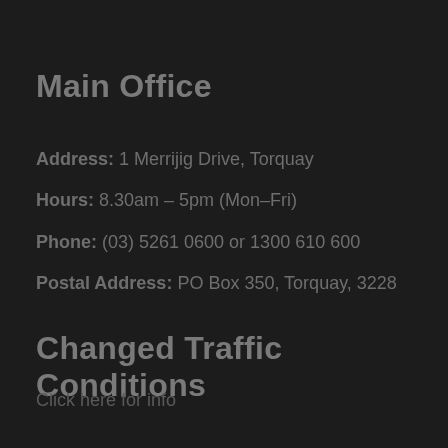Main Office
Address: 1 Merrijig Drive, Torquay
Hours: 8.30am – 5pm (Mon–Fri)
Phone: (03) 5261 0600 or 1300 610 600
Postal Address: PO Box 350, Torquay, 3228
Changed Traffic Conditions
Click here for info